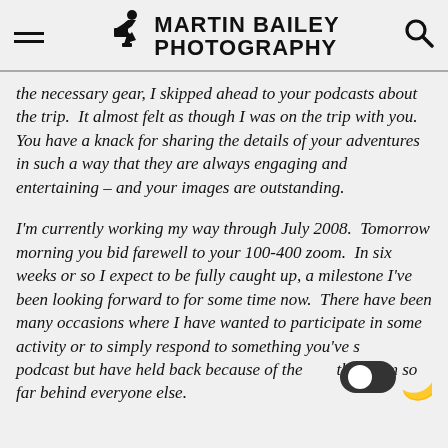Martin Bailey Photography
the necessary gear, I skipped ahead to your podcasts about the trip.  It almost felt as though I was on the trip with you.  You have a knack for sharing the details of your adventures in such a way that they are always engaging and entertaining – and your images are outstanding.
I'm currently working my way through July 2008.  Tomorrow morning you bid farewell to your 100-400 zoom.  In six weeks or so I expect to be fully caught up, a milestone I've been looking forward to for some time now.  There have been many occasions where I have wanted to participate in some activity or to simply respond to something you've said in a podcast but have held back because of the fact that I am so far behind everyone else.